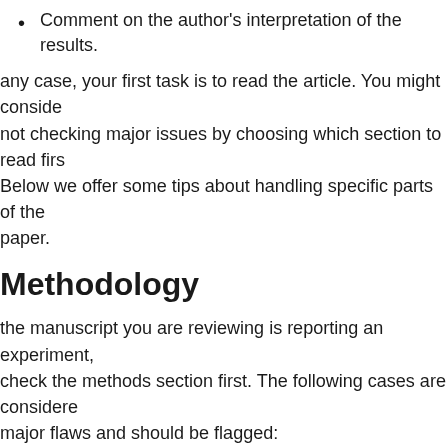Comment on the author's interpretation of the results.
any case, your first task is to read the article. You might consider not checking major issues by choosing which section to read first. Below we offer some tips about handling specific parts of the paper.
Methodology
the manuscript you are reviewing is reporting an experiment, check the methods section first. The following cases are considered major flaws and should be flagged:
Unsound methodology
Discredited method
Missing processes known to be influential on the area of reported research
A conclusion drawn in contradiction to the statistical or qualitative evidence reported in the manuscript
or analytical papers examine the sampling report, which is